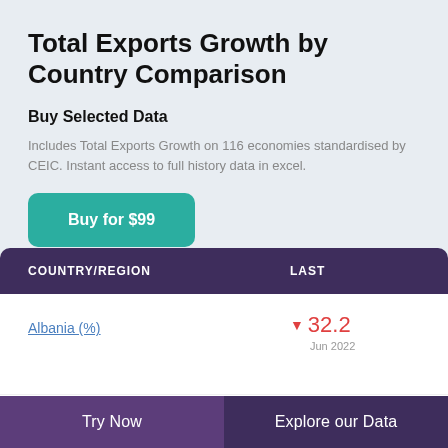Total Exports Growth by Country Comparison
Buy Selected Data
Includes Total Exports Growth on 116 economies standardised by CEIC. Instant access to full history data in excel.
Buy for $99
| COUNTRY/REGION | LAST |
| --- | --- |
| Albania (%) | ▼ 32.2 Jun 2022 |
|  | ▲ 18.5 |
Try Now   Explore our Data